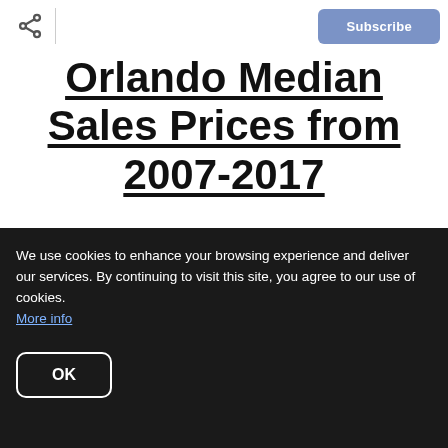Subscribe
Orlando Median Sales Prices from 2007-2017
Single Family Homes
[Figure (continuous-plot): Partial bar/line chart showing Orlando median sales prices, with y-axis label '$350,000' visible at top]
We use cookies to enhance your browsing experience and deliver our services. By continuing to visit this site, you agree to our use of cookies. More info
OK